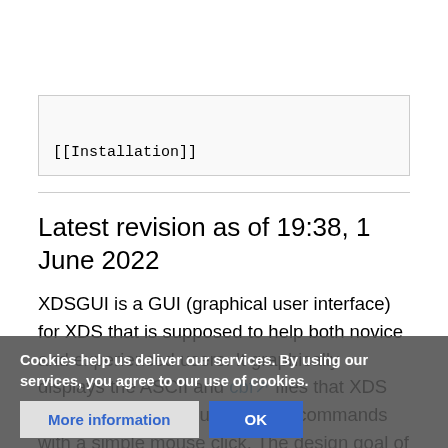[[Installation]]
Latest revision as of 19:38, 1 June 2022
XDSGUI is a GUI (graphical user interface) for XDS that is supposed to help both novice and experienced users. It graphically displays the ASCII and cbf files that XDS writes, and can run useful shell commands with a simple mouse click. The design goal of the program is to enable XDS data processing without the commandline, and to supply additional tools with a simple, user-
Cookies help us deliver our services. By using our services, you agree to our use of cookies.